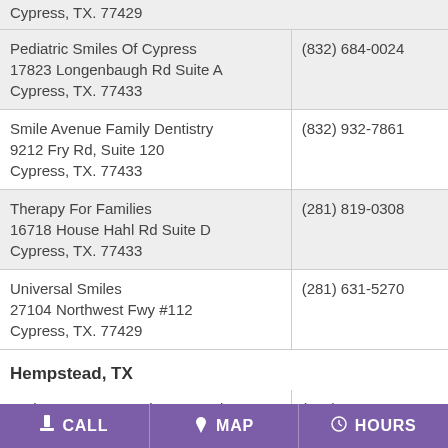| Name/Address | Phone |
| --- | --- |
| Pediatric Smiles Of Cypress
17823 Longenbaugh Rd Suite A
Cypress, TX. 77433 | (832) 684-0024 |
| Smile Avenue Family Dentistry
9212 Fry Rd, Suite 120
Cypress, TX. 77433 | (832) 932-7861 |
| Therapy For Families
16718 House Hahl Rd Suite D
Cypress, TX. 77433 | (281) 819-0308 |
| Universal Smiles
27104 Northwest Fwy #112
Cypress, TX. 77429 | (281) 631-5270 |
Hempstead, TX
| Name/Address | Phone |
| --- | --- |
| Retirement Care Ctr-hempstead
1111 San Antonio St
Hempstead, TX. 77445 | (979) 826-3382 |
| Shady Oaks Apartments Ltd
506 Ellen Powell Dr | (936) 857-5511 |
CALL  MAP  HOURS